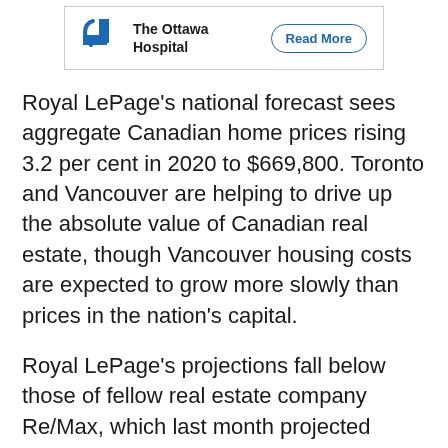[Figure (other): Advertisement banner for The Ottawa Hospital with a Read More button]
Royal LePage's national forecast sees aggregate Canadian home prices rising 3.2 per cent in 2020 to $669,800. Toronto and Vancouver are helping to drive up the absolute value of Canadian real estate, though Vancouver housing costs are expected to grow more slowly than prices in the nation's capital.
Royal LePage's projections fall below those of fellow real estate company Re/Max, which last month projected Ottawa's average home sale price will rise six per cent by the same